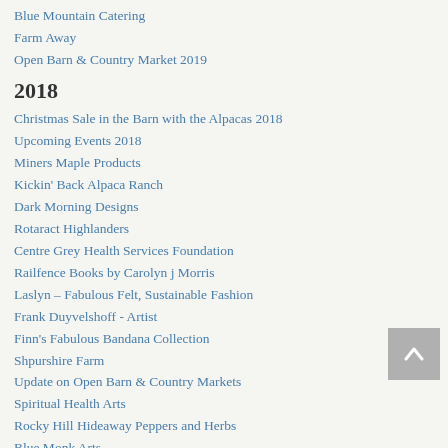Blue Mountain Catering
Farm Away
Open Barn & Country Market 2019
2018
Christmas Sale in the Barn with the Alpacas 2018
Upcoming Events 2018
Miners Maple Products
Kickin' Back Alpaca Ranch
Dark Morning Designs
Rotaract Highlanders
Centre Grey Health Services Foundation
Railfence Books by Carolyn j Morris
Laslyn – Fabulous Felt, Sustainable Fashion
Frank Duyvelshoff - Artist
Finn's Fabulous Bandana Collection
Shpurshire Farm
Update on Open Barn & Country Markets
Spiritual Health Arts
Rocky Hill Hideaway Peppers and Herbs
Blue Monk Arts
Annanda Chaga
Hunking Honey